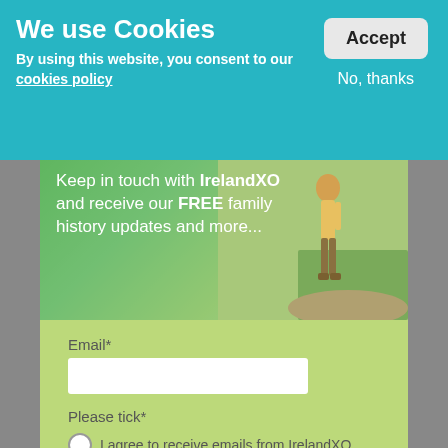We use Cookies
Accept
No, thanks
By using this website, you consent to our cookies policy
[Figure (screenshot): Hero image showing a person standing on a hillside with green landscape. Overlaid text reads: Keep in touch with IrelandXO and receive our FREE family history updates and more...]
Email*
Please tick*
I agree to receive emails from IrelandXO
Join mailing list
Close this